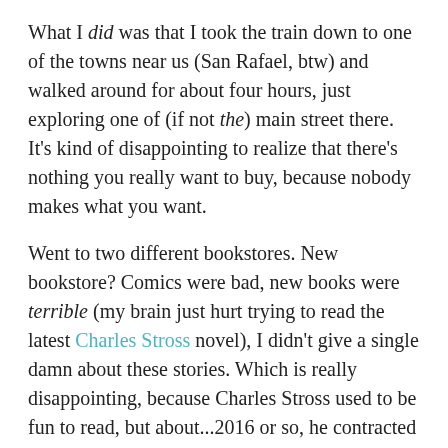What I did was that I took the train down to one of the towns near us (San Rafael, btw) and walked around for about four hours, just exploring one of (if not the) main street there. It's kind of disappointing to realize that there's nothing you really want to buy, because nobody makes what you want.
Went to two different bookstores. New bookstore? Comics were bad, new books were terrible (my brain just hurt trying to read the latest Charles Stross novel), I didn't give a single damn about these stories. Which is really disappointing, because Charles Stross used to be fun to read, but about...2016 or so, he contracted a massive case of Martian Brain Fungus and he just